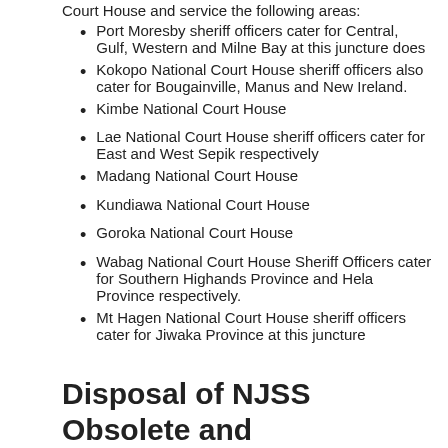Court House and service the following areas:
Port Moresby sheriff officers cater for Central, Gulf, Western and Milne Bay at this juncture does
Kokopo National Court House sheriff officers also cater for Bougainville, Manus and New Ireland.
Kimbe National Court House
Lae National Court House sheriff officers cater for East and West Sepik respectively
Madang National Court House
Kundiawa National Court House
Goroka National Court House
Wabag National Court House Sheriff Officers cater for Southern Highands Province and Hela Province respectively.
Mt Hagen National Court House sheriff officers cater for Jiwaka Province at this juncture
Disposal of NJSS Obsolete and